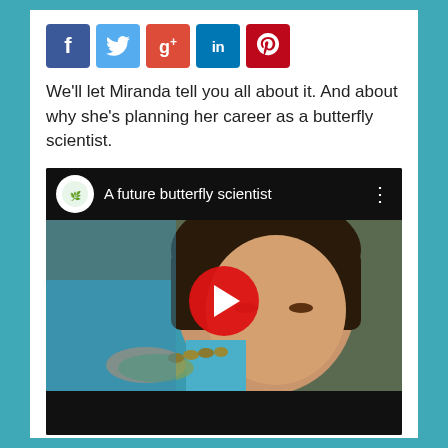[Figure (other): Social media share buttons: Facebook (blue), Twitter (light blue), Google+ (red), LinkedIn (blue), Pinterest (dark red)]
We'll let Miranda tell you all about it. And about why she's planning her career as a butterfly scientist.
[Figure (screenshot): YouTube video embed titled 'A future butterfly scientist' showing a young girl holding a leaf with a caterpillar, with a red YouTube play button overlay.]